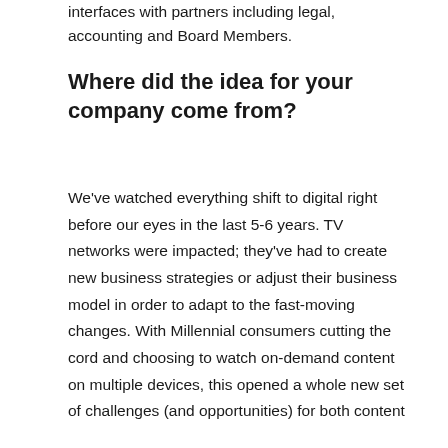interfaces with partners including legal, accounting and Board Members.
Where did the idea for your company come from?
We've watched everything shift to digital right before our eyes in the last 5-6 years. TV networks were impacted; they've had to create new business strategies or adjust their business model in order to adapt to the fast-moving changes. With Millennial consumers cutting the cord and choosing to watch on-demand content on multiple devices, this opened a whole new set of challenges (and opportunities) for both content